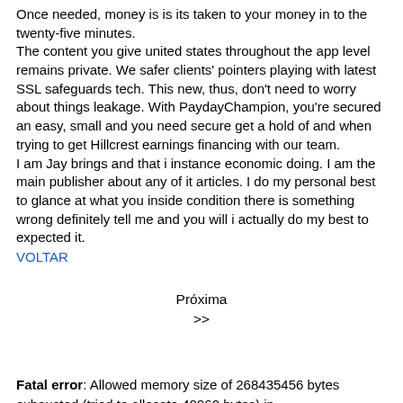Once needed, money is is its taken to your money in to the twenty-five minutes.
The content you give united states throughout the app level remains private. We safer clients' pointers playing with latest SSL safeguards tech. This new, thus, don't need to worry about things leakage. With PaydayChampion, you're secured an easy, small and you need secure get a hold of and when trying to get Hillcrest earnings financing with our team.
I am Jay brings and that i instance economic doing. I am the main publisher about any of it articles. I do my personal best to glance at what you inside condition there is something wrong definitely tell me and you will i actually do my best to expected it.
VOLTAR
Próxima
>>
Fatal error: Allowed memory size of 268435456 bytes exhausted (tried to allocate 40960 bytes) in /home/storage/a/3a/26/bissolatti3/public_html/wp-includes/wp-db.php on line 2022